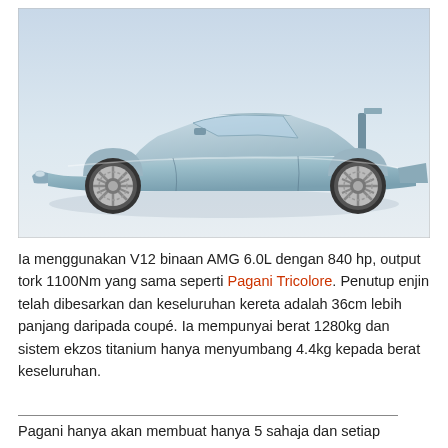[Figure (photo): Side profile photo of a light blue Pagani supercar on a white/light grey background. The car has a low, sleek aerodynamic body with distinctive multi-spoke alloy wheels and a prominent rear wing air intake.]
Ia menggunakan V12 binaan AMG 6.0L dengan 840 hp, output tork 1100Nm yang sama seperti Pagani Tricolore. Penutup enjin telah dibesarkan dan keseluruhan kereta adalah 36cm lebih panjang daripada coupé. Ia mempunyai berat 1280kg dan sistem ekzos titanium hanya menyumbang 4.4kg kepada berat keseluruhan.
Pagani hanya akan membuat hanya 5 sahaja dan setiap satu